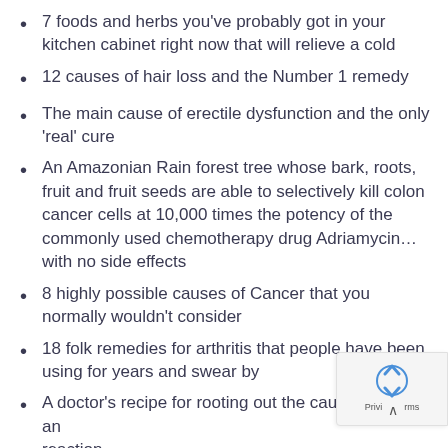7 foods and herbs you've probably got in your kitchen cabinet right now that will relieve a cold
12 causes of hair loss and the Number 1 remedy
The main cause of erectile dysfunction and the only 'real' cure
An Amazonian Rain forest tree whose bark, roots, fruit and fruit seeds are able to selectively kill colon cancer cells at 10,000 times the potency of the commonly used chemotherapy drug Adriamycin…with no side effects
8 highly possible causes of Cancer that you normally wouldn't consider
18 folk remedies for arthritis that people have been using for years and swear by
A doctor's recipe for rooting out the cause of an reaction